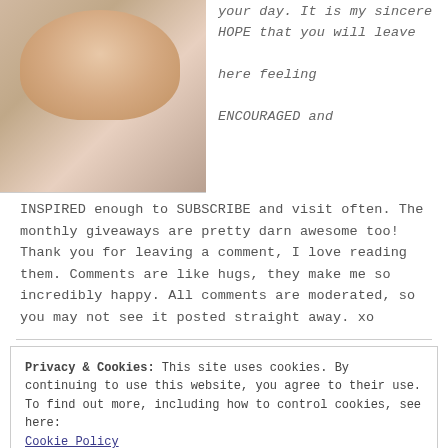[Figure (photo): Portrait photo of a smiling middle-aged woman with gray hair, wearing a light-colored top]
your day. It is my sincere HOPE that you will leave here feeling ENCOURAGED and INSPIRED enough to SUBSCRIBE and visit often. The monthly giveaways are pretty darn awesome too! Thank you for leaving a comment, I love reading them. Comments are like hugs, they make me so incredibly happy. All comments are moderated, so you may not see it posted straight away. xo
Privacy & Cookies: This site uses cookies. By continuing to use this website, you agree to their use.
To find out more, including how to control cookies, see here:
Cookie Policy
Close and accept